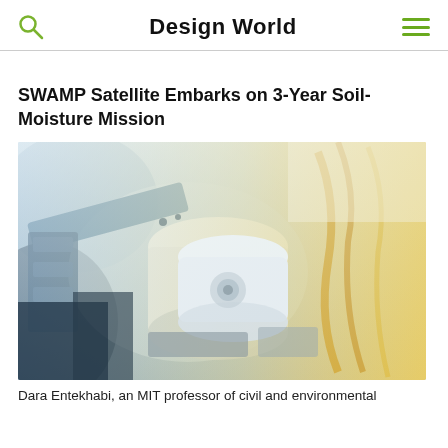Design World
SWAMP Satellite Embarks on 3-Year Soil-Moisture Mission
[Figure (photo): Close-up photograph of scientific/satellite instrument equipment with blue metallic components on the left and warm yellow/golden tones on the right, showing mechanical parts and sensors.]
Dara Entekhabi, an MIT professor of civil and environmental